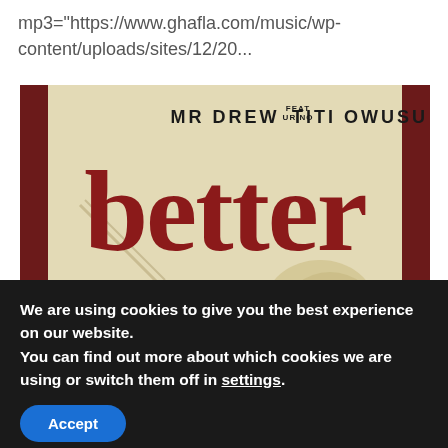mp3="https://www.ghafla.com/music/wp-content/uploads/sites/12/20...
[Figure (illustration): Music single cover art for 'better' by Mr Drew feat. Urino Titi Owusu. Cream/beige distressed paper background with dark red side borders. Large text at top reads 'MR DREW FEAT URINO TITI OWUSU' and large red serif letters spell out 'better' in the center.]
We are using cookies to give you the best experience on our website.
You can find out more about which cookies we are using or switch them off in settings.
Accept